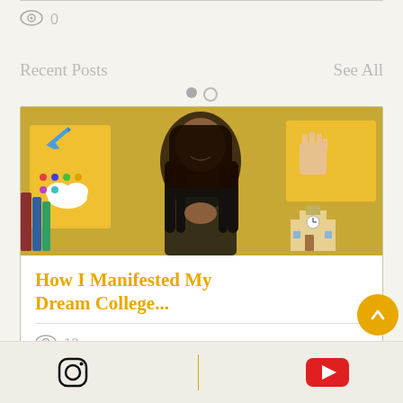0
Recent Posts
See All
[Figure (photo): A smiling woman with long braids, hands pressed together in prayer pose, wearing a black top. Background shows yellow posters and emoji stickers including an airplane, cloud, and school building.]
How I Manifested My Dream College...
13
[Figure (logo): Instagram logo icon (black outline square with rounded corners and circle)]
[Figure (logo): YouTube logo icon (red rectangle with white play triangle)]